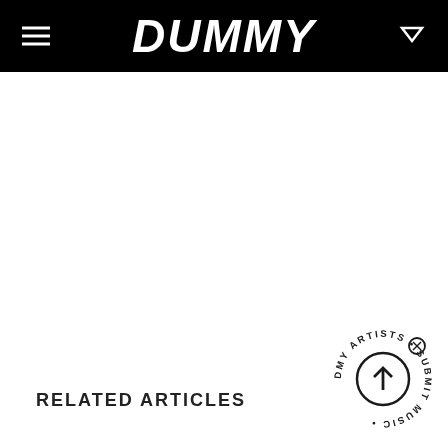DUMMY
RELATED ARTICLES
[Figure (logo): Circular badge with text 'DMY ARTISTS • SUBMIT MUSIC' around an upward arrow icon with a circled X at top right]